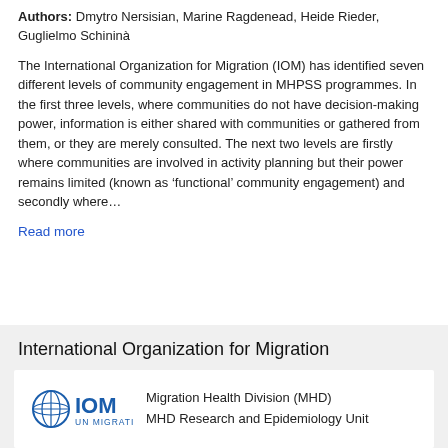Authors: Dmytro Nersisian, Marine Ragdenead, Heide Rieder, Guglielmo Schininà
The International Organization for Migration (IOM) has identified seven different levels of community engagement in MHPSS programmes. In the first three levels, where communities do not have decision-making power, information is either shared with communities or gathered from them, or they are merely consulted. The next two levels are firstly where communities are involved in activity planning but their power remains limited (known as 'functional' community engagement) and secondly where…
Read more
International Organization for Migration
[Figure (logo): IOM UN Migration logo — globe icon with IOM text and UN MIGRATION below]
Migration Health Division (MHD)
MHD Research and Epidemiology Unit